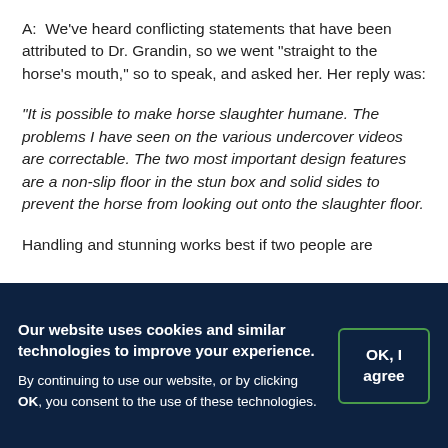A:  We've heard conflicting statements that have been attributed to Dr. Grandin, so we went "straight to the horse's mouth," so to speak, and asked her. Her reply was:
"It is possible to make horse slaughter humane. The problems I have seen on the various undercover videos are correctable. The two most important design features are a non-slip floor in the stun box and solid sides to prevent the horse from looking out onto the slaughter floor.
Handling and stunning works best if two people are
Our website uses cookies and similar technologies to improve your experience. By continuing to use our website, or by clicking OK, you consent to the use of these technologies.